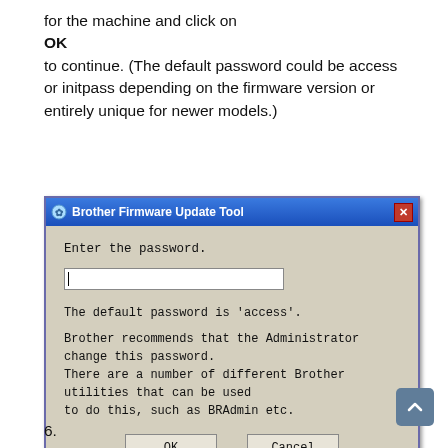for the machine and click on
OK
to continue. (The default password could be access or initpass depending on the firmware version or entirely unique for newer models.)
[Figure (screenshot): Brother Firmware Update Tool dialog box showing a password entry field with text 'Enter the password.', a text input box, information text about the default password being 'access' and Brother recommending Administrator change it using utilities like BRAdmin, and OK and Cancel buttons.]
6.